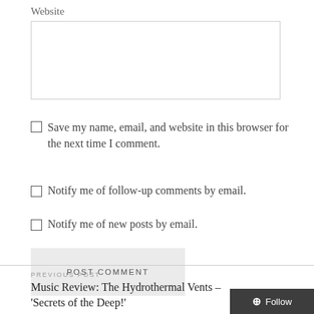Website
Save my name, email, and website in this browser for the next time I comment.
Notify me of follow-up comments by email.
Notify me of new posts by email.
POST COMMENT
PREVIOUS POST
Music Review: The Hydrothermal Vents – 'Secrets of the Deep!'